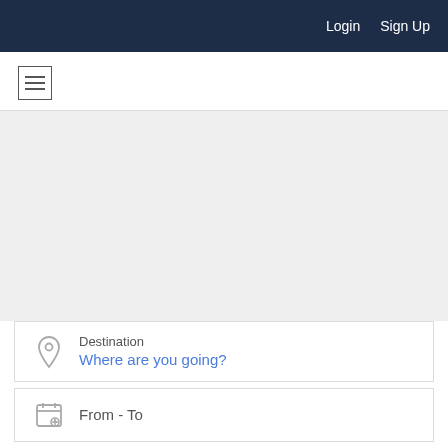Login  Sign Up
[Figure (screenshot): Hamburger menu icon (three horizontal lines in a square border)]
[Figure (map): Map area background]
Destination
Where are you going?
From - To